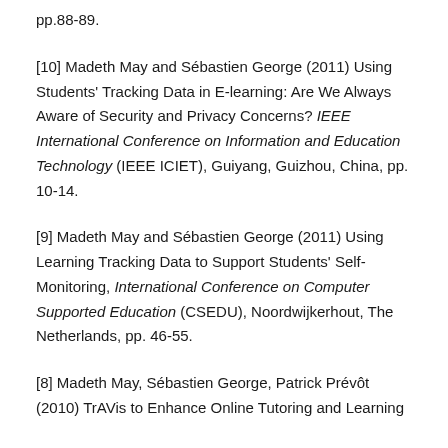pp.88-89.
[10] Madeth May and Sébastien George (2011) Using Students' Tracking Data in E-learning: Are We Always Aware of Security and Privacy Concerns? IEEE International Conference on Information and Education Technology (IEEE ICIET), Guiyang, Guizhou, China, pp. 10-14.
[9] Madeth May and Sébastien George (2011) Using Learning Tracking Data to Support Students' Self-Monitoring, International Conference on Computer Supported Education (CSEDU), Noordwijkerhout, The Netherlands, pp. 46-55.
[8] Madeth May, Sébastien George, Patrick Prévôt (2010) TrAVis to Enhance Online Tutoring and Learning